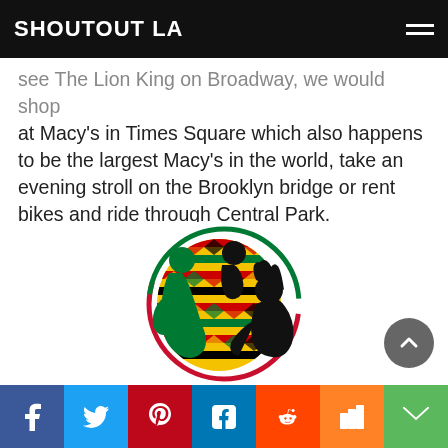SHOUTOUT LA
see The Lion King on Broadway, we would shop at Macy's in Times Square which also happens to be the largest Macy's in the world, take an evening stroll on the Brooklyn bridge or rent bikes and ride through Central Park.
[Figure (illustration): A circular logo with red and green arc border against white background, featuring a kente-cloth patterned Africa silhouette in the center, with three human silhouettes: a green figure facing left, a black figure bent over in the middle, and a black figure with dreadlocks on the right. African cultural illustration.]
f  t  p  in  reddit  m  mail — social sharing bar